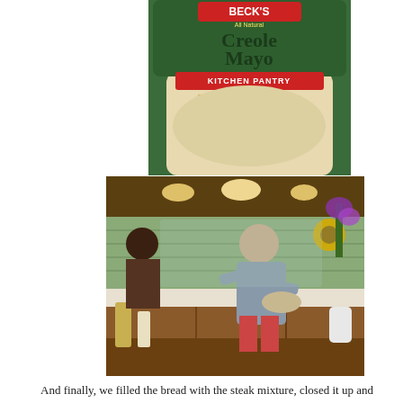[Figure (photo): Close-up of a jar of Beck's All Natural Creole Mayo, Kitchen Pantry brand, labeled as Sandwich Spread, Salad Mixer & Dip. Green background with colorful label.]
[Figure (photo): A man standing in a kitchen with green tile backsplash, warm lighting, wooden cabinets, flowers in a white vase, and various items on the counter. He appears to be preparing food.]
And finally, we filled the bread with the steak mixture, closed it up and